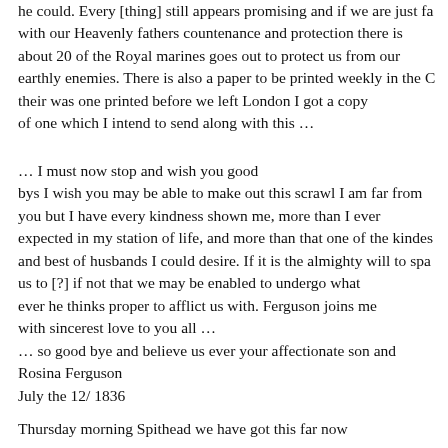he could. Every [thing] still appears promising and if we are just favoured with our Heavenly fathers countenance and protection there is about 20 of the Royal marines goes out to protect us from our earthly enemies. There is also a paper to be printed weekly in the Colony their was one printed before we left London I got a copy of one which I intend to send along with this …
… I must now stop and wish you good bys I wish you may be able to make out this scrawl I am far from you but I have every kindness shown me, more than I ever expected in my station of life, and more than that one of the kindest and best of husbands I could desire. If it is the almighty will to spare us to [?] if not that we may be enabled to undergo what ever he thinks proper to afflict us with. Ferguson joins me with sincerest love to you all … … so good bye and believe us ever your affectionate son and Rosina Ferguson July the 12/ 1836
Thursday morning Spithead we have got this far now